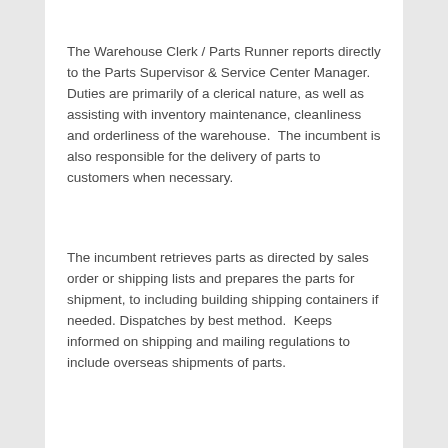The Warehouse Clerk / Parts Runner reports directly to the Parts Supervisor & Service Center Manager.  Duties are primarily of a clerical nature, as well as assisting with inventory maintenance, cleanliness and orderliness of the warehouse.  The incumbent is also responsible for the delivery of parts to customers when necessary.
The incumbent retrieves parts as directed by sales order or shipping lists and prepares the parts for shipment, to including building shipping containers if needed. Dispatches by best method.  Keeps informed on shipping and mailing regulations to include overseas shipments of parts.